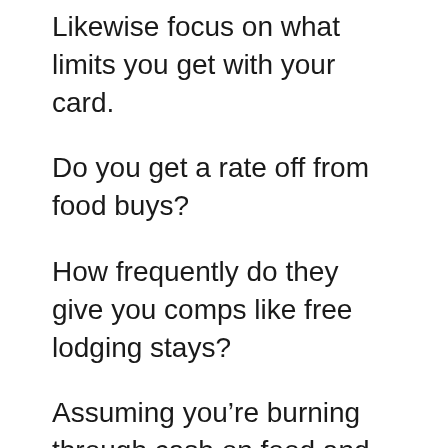Likewise focus on what limits you get with your card.
Do you get a rate off from food buys?
How frequently do they give you comps like free lodging stays?
Assuming you’re burning through cash on food and beverages while you’re there, go where you get the best arrangements, and lower the expense of your general gambling club insight.
One component that fluctuates from one gambling club to another is as far as possible – your base and greatest wagers. A few club might have higher least wagers on table games than you may be